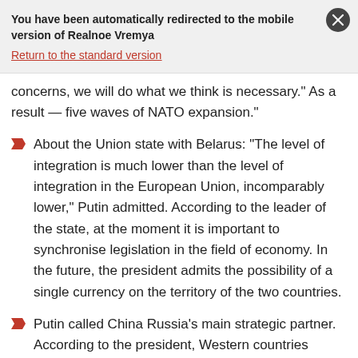You have been automatically redirected to the mobile version of Realnoe Vremya
Return to the standard version
concerns, we will do what we think is necessary.” As a result — five waves of NATO expansion.”
About the Union state with Belarus: “The level of integration is much lower than the level of integration in the European Union, incomparably lower,” Putin admitted. According to the leader of the state, at the moment it is important to synchronise legislation in the field of economy. In the future, the president admits the possibility of a single currency on the territory of the two countries.
Putin called China Russia's main strategic partner. According to the president, Western countries cannot restrain the development of the Celestial Empire, and they must realise this. According to him, today, according to